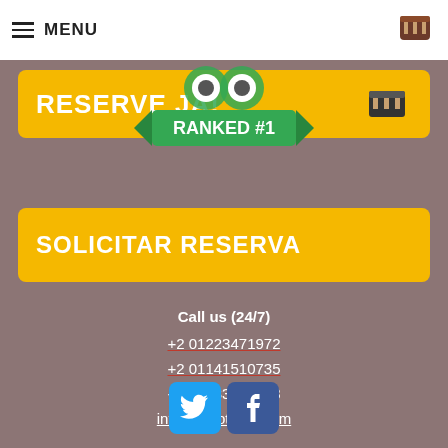MENU
RESERVE JÁ!
[Figure (logo): TripAdvisor badge with RANKED #1 text on green ribbon]
SOLICITAR RESERVA
Call us (24/7)
+2 01223471972
+2 01141510735
+2 01033864433
info@emotours.com
[Figure (logo): Twitter and Facebook social media icons]